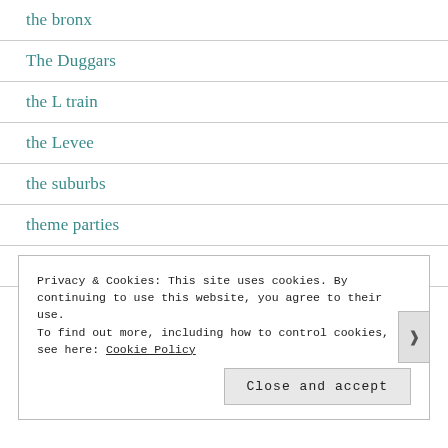the bronx
The Duggars
the L train
the Levee
the suburbs
theme parties
things at my parents house
Privacy & Cookies: This site uses cookies. By continuing to use this website, you agree to their use. To find out more, including how to control cookies, see here: Cookie Policy
Close and accept